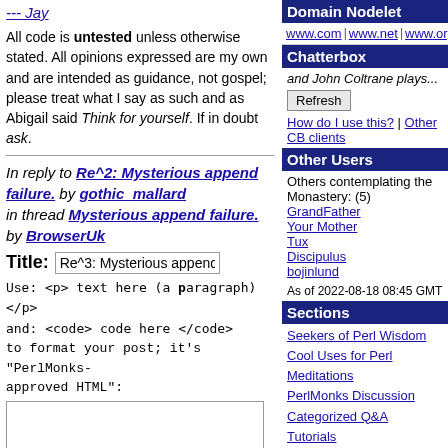--- Jay
All code is untested unless otherwise stated. All opinions expressed are my own and are intended as guidance, not gospel; please treat what I say as such and as Abigail said Think for yourself. If in doubt ask.
In reply to Re^2: Mysterious append failure. by gothic_mallard in thread Mysterious append failure. by BrowserUk
Title: Re^3: Mysterious append fai
Use: <p> text here (a paragraph) </p>
and: <code> code here </code>
to format your post; it's "PerlMonks-approved HTML":
Domain Nodelet
www.com | www.net | www.org
Chatterbox
and John Coltrane plays...
Refresh
How do I use this? | Other CB clients
Other Users
Others contemplating the Monastery: (5)
GrandFather
Your Mother
Tux
Discipulus
bojinlund
As of 2022-08-18 08:45 GMT
Sections
Seekers of Perl Wisdom
Cool Uses for Perl
Meditations
PerlMonks Discussion
Categorized Q&A
Tutorials
Obfuscated Code
Perl Poetry
Perl News
about